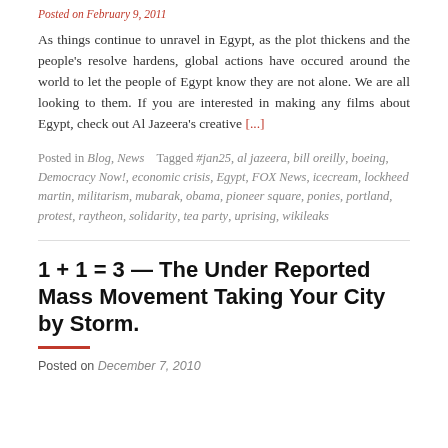Posted on February 9, 2011
As things continue to unravel in Egypt, as the plot thickens and the people's resolve hardens, global actions have occured around the world to let the people of Egypt know they are not alone. We are all looking to them. If you are interested in making any films about Egypt, check out Al Jazeera's creative [...]
Posted in Blog, News    Tagged #jan25, al jazeera, bill oreilly, boeing, Democracy Now!, economic crisis, Egypt, FOX News, icecream, lockheed martin, militarism, mubarak, obama, pioneer square, ponies, portland, protest, raytheon, solidarity, tea party, uprising, wikileaks
1 + 1 = 3 — The Under Reported Mass Movement Taking Your City by Storm.
Posted on December 7, 2010